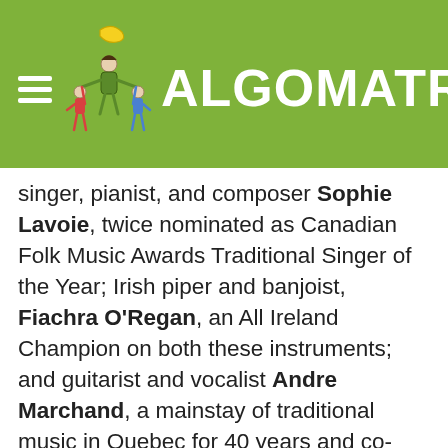[Figure (logo): AlgomaTrad website header with green background, hamburger menu icon, cartoon illustration of people dancing in a circle, and 'ALGOMATRAD' text in white]
singer, pianist, and composer Sophie Lavoie, twice nominated as Canadian Folk Music Awards Traditional Singer of the Year; Irish piper and banjoist, Fiachra O'Regan, an All Ireland Champion on both these instruments; and guitarist and vocalist Andre Marchand, a mainstay of traditional music in Quebec for 40 years and co-founder of La Bottine Souriante, one of the most successful Québécois trad bands ever. In 2022, Grosse Isle was nominated for the CFMA Traditional Album of the Year for their